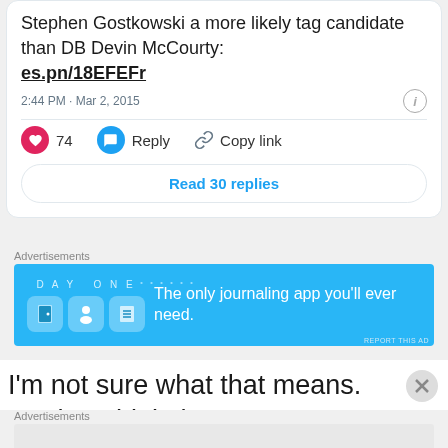Stephen Gostkowski a more likely tag candidate than DB Devin McCourty: es.pn/18EFEFr
2:44 PM · Mar 2, 2015
74  Reply  Copy link
Read 30 replies
Advertisements
[Figure (screenshot): Day One journaling app advertisement banner with blue background and text: The only journaling app you'll ever need.]
REPORT THIS AD
I'm not sure what that means. Do they think they
Advertisements